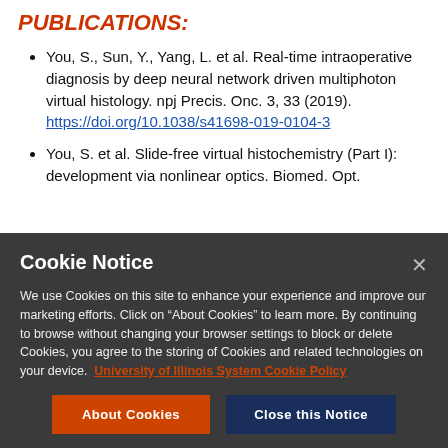PUBLICATIONS:
You, S., Sun, Y., Yang, L. et al. Real-time intraoperative diagnosis by deep neural network driven multiphoton virtual histology. npj Precis. Onc. 3, 33 (2019). https://doi.org/10.1038/s41698-019-0104-3
You, S. et al. Slide-free virtual histochemistry (Part I): development via nonlinear optics. Biomed. Opt.
Cookie Notice
We use Cookies on this site to enhance your experience and improve our marketing efforts. Click on “About Cookies” to learn more. By continuing to browse without changing your browser settings to block or delete Cookies, you agree to the storing of Cookies and related technologies on your device. University of Illinois System Cookie Policy
About Cookies   Close this Notice